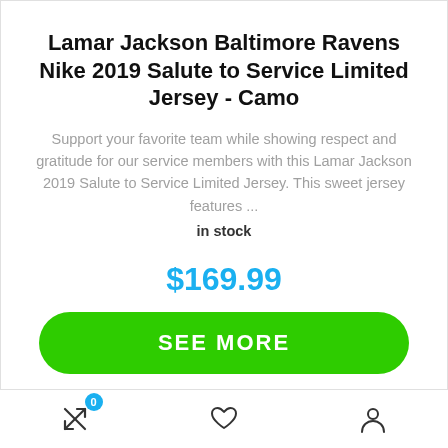Lamar Jackson Baltimore Ravens Nike 2019 Salute to Service Limited Jersey - Camo
Support your favorite team while showing respect and gratitude for our service members with this Lamar Jackson 2019 Salute to Service Limited Jersey. This sweet jersey features ...
in stock
$169.99
SEE MORE
0 (cart) | heart icon | user icon